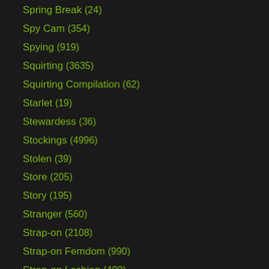Spring Break (24)
Spy Cam (354)
Spying (919)
Squirting (3635)
Squirting Compilation (62)
Starlet (19)
Stewardess (36)
Stockings (4996)
Stolen (39)
Store (205)
Story (195)
Stranger (560)
Strap-on (2108)
Strap-on Femdom (990)
Strap-on Lesbian (480)
Strap-on Shemale (10)